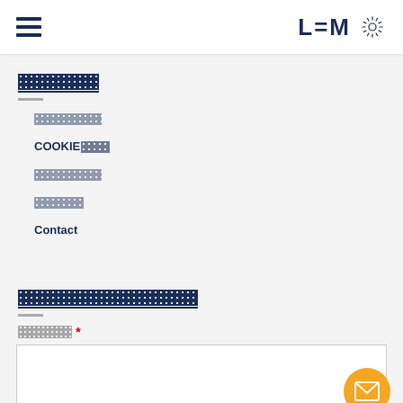LEM — navigation header with hamburger menu and logo
XXXXXXX (redacted)
[redacted]
COOKIE[redacted]
[redacted]
[redacted]
Contact
XXXXXXXXXXXXXXX (redacted)
[redacted field label] *
[text input area]